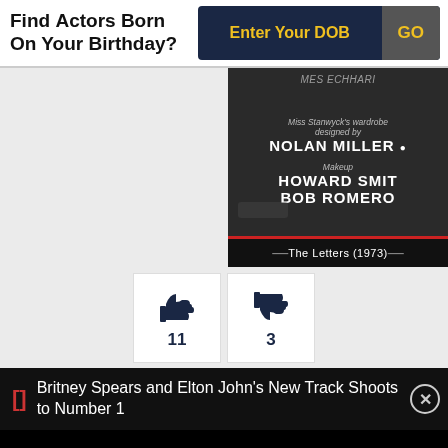Find Actors Born On Your Birthday?
Enter Your DOB | GO
[Figure (screenshot): Movie credits screenshot showing 'Miss Stanwyck's wardrobe designed by NOLAN MILLER • Makeup HOWARD SMIT BOB ROMERO' with title bar 'The Letters (1973)']
11 (thumbs up) | 3 (thumbs down)
As: Cast
Director: Paul Krasny, Gene Nelson
Britney Spears and Elton John's New Track Shoots to Number 1